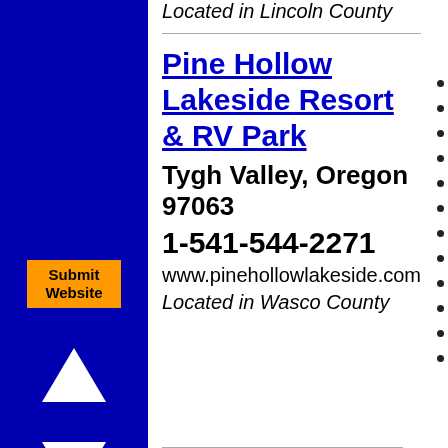Located in Lincoln County
Pine Hollow Lakeside Resort & RV Park
Tygh Valley, Oregon 97063
1-541-544-2271
www.pinehollowlakeside.com
Located in Wasco County